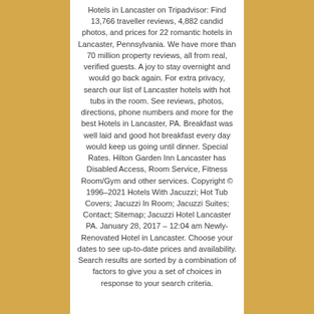Hotels in Lancaster on Tripadvisor: Find 13,766 traveller reviews, 4,882 candid photos, and prices for 22 romantic hotels in Lancaster, Pennsylvania. We have more than 70 million property reviews, all from real, verified guests. A joy to stay overnight and would go back again. For extra privacy, search our list of Lancaster hotels with hot tubs in the room. See reviews, photos, directions, phone numbers and more for the best Hotels in Lancaster, PA. Breakfast was well laid and good hot breakfast every day would keep us going until dinner. Special Rates. Hilton Garden Inn Lancaster has Disabled Access, Room Service, Fitness Room/Gym and other services. Copyright © 1996–2021 Hotels With Jacuzzi; Hot Tub Covers; Jacuzzi In Room; Jacuzzi Suites; Contact; Sitemap; Jacuzzi Hotel Lancaster PA. January 28, 2017 – 12:04 am Newly-Renovated Hotel in Lancaster. Choose your dates to see up-to-date prices and availability. Search results are sorted by a combination of factors to give you a set of choices in response to your search criteria.